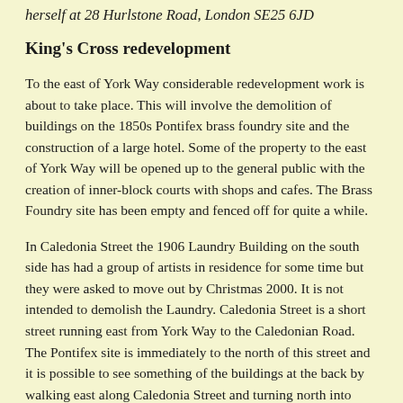herself at 28 Hurlstone Road, London SE25 6JD
King's Cross redevelopment
To the east of York Way considerable redevelopment work is about to take place. This will involve the demolition of buildings on the 1850s Pontifex brass foundry site and the construction of a large hotel. Some of the property to the east of York Way will be opened up to the general public with the creation of inner-block courts with shops and cafes. The Brass Foundry site has been empty and fenced off for quite a while.
In Caledonia Street the 1906 Laundry Building on the south side has had a group of artists in residence for some time but they were asked to move out by Christmas 2000. It is not intended to demolish the Laundry. Caledonia Street is a short street running east from York Way to the Caledonian Road. The Pontifex site is immediately to the north of this street and it is possible to see something of the buildings at the back by walking east along Caledonia Street and turning north into Balfe Street. This street runs from north to south immediately to the east of York Way. An inviting arch; on the east side of the street at number 17